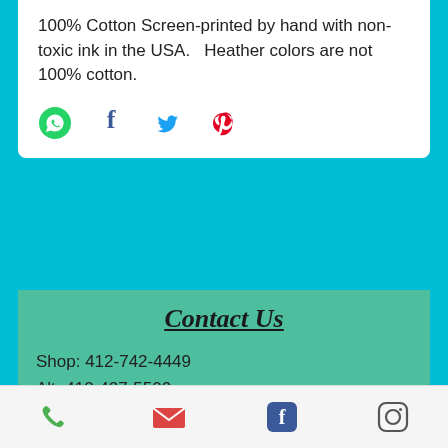100% Cotton Screen-printed by hand with non-toxic ink in the USA.   Heather colors are not 100% cotton.
[Figure (other): Social share icons: WhatsApp (green), Facebook (dark blue f), Twitter (blue bird), Pinterest (red P)]
Contact Us
Shop: 412-742-4449
Alt: 412-427-5500
SongbirdArtistry.com
4316 Penn Ave
Pittsburgh, PA 15224
(in Lawrenceville, across from Children's Hospital)
Tues - Thursday, 11:00-6:00
Friday & Saturday, 11:00-5:00
[Figure (other): Bottom navigation bar with phone, email, Facebook, and Instagram icons]